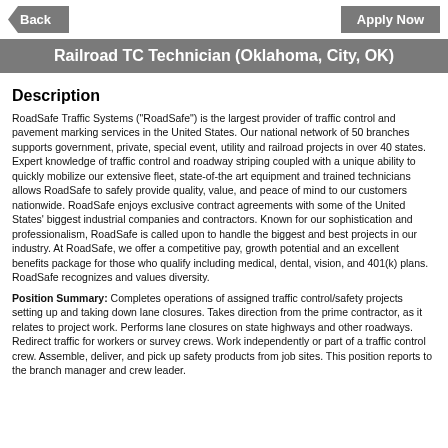Back | Apply Now
Railroad TC Technician (Oklahoma, City, OK)
Description
RoadSafe Traffic Systems ("RoadSafe") is the largest provider of traffic control and pavement marking services in the United States. Our national network of 50 branches supports government, private, special event, utility and railroad projects in over 40 states. Expert knowledge of traffic control and roadway striping coupled with a unique ability to quickly mobilize our extensive fleet, state-of-the art equipment and trained technicians allows RoadSafe to safely provide quality, value, and peace of mind to our customers nationwide. RoadSafe enjoys exclusive contract agreements with some of the United States' biggest industrial companies and contractors. Known for our sophistication and professionalism, RoadSafe is called upon to handle the biggest and best projects in our industry. At RoadSafe, we offer a competitive pay, growth potential and an excellent benefits package for those who qualify including medical, dental, vision, and 401(k) plans. RoadSafe recognizes and values diversity.
Position Summary: Completes operations of assigned traffic control/safety projects setting up and taking down lane closures. Takes direction from the prime contractor, as it relates to project work. Performs lane closures on state highways and other roadways. Redirect traffic for workers or survey crews. Work independently or part of a traffic control crew. Assemble, deliver, and pick up safety products from job sites. This position reports to the branch manager and crew leader.